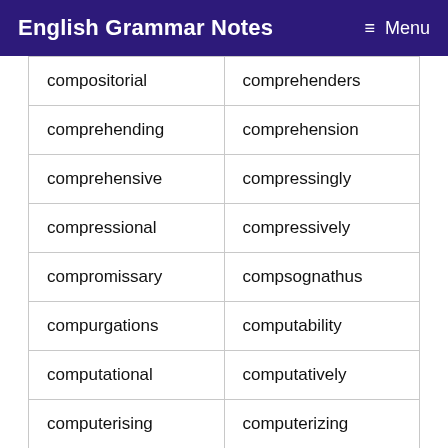English Grammar Notes  ≡ Menu
| compositorial | comprehenders |
| comprehending | comprehension |
| comprehensive | compressingly |
| compressional | compressively |
| compromissary | compsognathus |
| compurgations | computability |
| computational | computatively |
| computerising | computerizing |
| computerphobe | comradeliness |